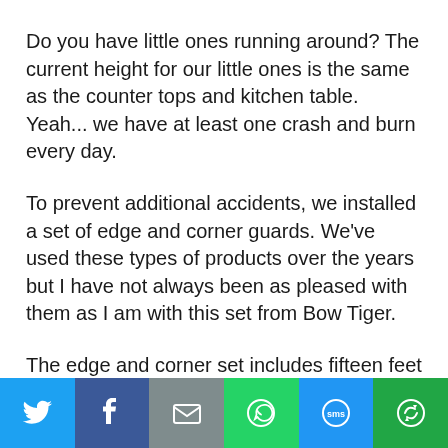Do you have little ones running around? The current height for our little ones is the same as the counter tops and kitchen table. Yeah... we have at least one crash and burn every day.
To prevent additional accidents, we installed a set of edge and corner guards. We've used these types of products over the years but I have not always been as pleased with them as I am with this set from Bow Tiger.
The edge and corner set includes fifteen feet of edge padding and eight corner cards. Installation takes no
[Figure (infographic): Social sharing bar with six buttons: Twitter (blue bird icon), Facebook (dark blue f icon), Email (grey envelope icon), WhatsApp (green phone icon), SMS (blue SMS icon), More (green circular arrow icon)]